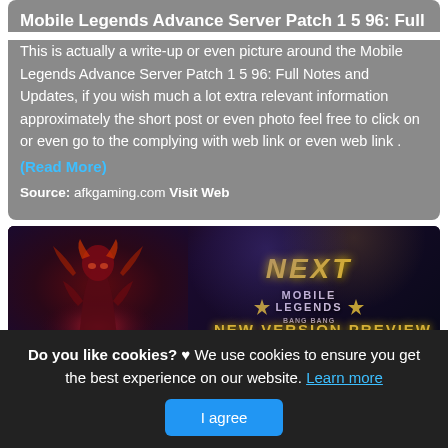Mobile Legends Advance Server Patch 1 5 96: Full
This is actually a write-up or even picture around the Mobile Legends Advance Server Patch 1 5 96: Full Notes and Updates, if you wish much a lot extra relevant information approximately the short post or even photo feel free to click on or even go to the complying with web link or even web link .
(Read More)
Source: afkgaming.com Visit Web
[Figure (screenshot): Mobile Legends NEXT new version preview banner with game character and golden NEXT and MOBILE LEGENDS logos on dark background]
Do you like cookies? ♥ We use cookies to ensure you get the best experience on our website. Learn more
I agree